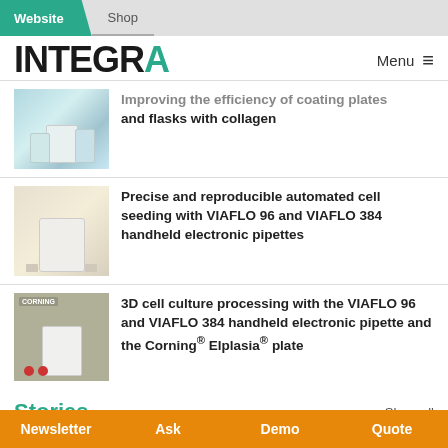Website | Shop
[Figure (logo): INTEGRA logo with teal A accent, and Menu button]
[Figure (photo): Photo of lab flasks/bottles on a platform device]
Improving the efficiency of coating plates and flasks with collagen
[Figure (photo): Photo of VIAFLO 96/384 handheld electronic pipette device]
Precise and reproducible automated cell seeding with VIAFLO 96 and VIAFLO 384 handheld electronic pipettes
[Figure (photo): Photo of VIAFLO device with Corning Elplasia plate, CORNING logo visible]
3D cell culture processing with the VIAFLO 96 and VIAFLO 384 handheld electronic pipette and the Corning® Elplasia® plate
Stories
Show all
Newsletter | Ask | Demo | Quote